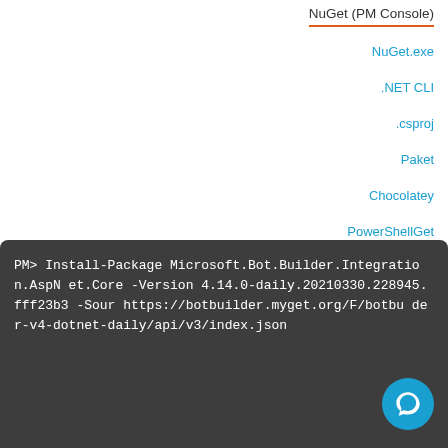NuGet (PM Console)
NuGet.exe
.NET CLI
.csproj
Paket
Chocolatey
PowerShellGet
PM> Install-Package Microsoft.Bot.Builder.Integration.AspNet.Core -Version 4.14.0-daily.20210330.228945.fff23b3 -Source https://botbuilder.myget.org/F/botbuilder-v4-dotnet-daily/api/v3/index.json